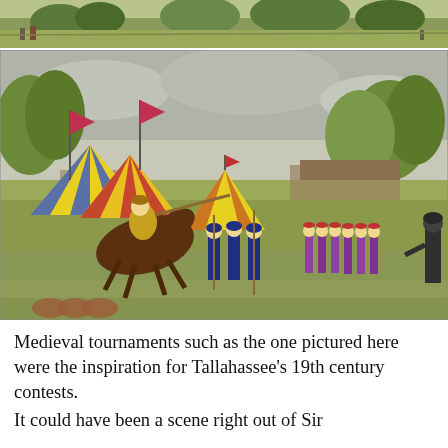[Figure (illustration): Partial view of a medieval tournament painting, showing the top portion cropped — green fields, trees, and spectators in the background.]
[Figure (illustration): A colorful painting of a medieval tournament scene featuring knights on horseback, striped tents in yellow, blue and red, soldiers marching in formation, spectators, flags and banners, set in an open field with trees in the background.]
Medieval tournaments such as the one pictured here were the inspiration for Tallahassee's 19th century contests.
It could have been a scene right out of Sir